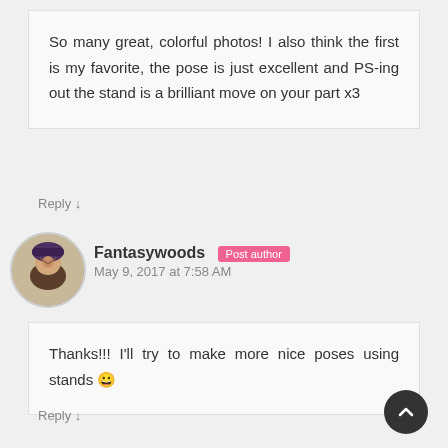So many great, colorful photos! I also think the first is my favorite, the pose is just excellent and PS-ing out the stand is a brilliant move on your part x3
Reply ↓
Fantasywoods  Post author
May 9, 2017 at 7:58 AM
Thanks!!! I'll try to make more nice poses using stands 😀
Reply ↓